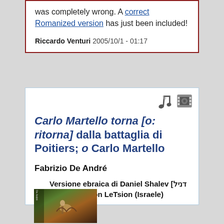was completely wrong. A correct Romanized version has just been included!
Riccardo Venturi 2005/10/1 - 01:17
Carlo Martello torna [o: ritorna] dalla battaglia di Poitiers; o Carlo Martello
Fabrizio De André
Versione ebraica di Daniel Shalev [דניל שלו], di Rishon LeTsion (Israele)
[Figure (photo): Album cover art showing a medieval knight on horseback with colorful fantasy illustration, with text 'De André' visible]